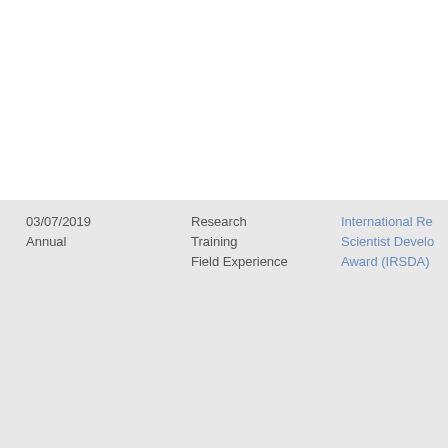| Date/Frequency | Type | Name |
| --- | --- | --- |
| 03/07/2019
Annual | Research Training Field Experience | International Re Scientist Develo Award (IRSDA) |